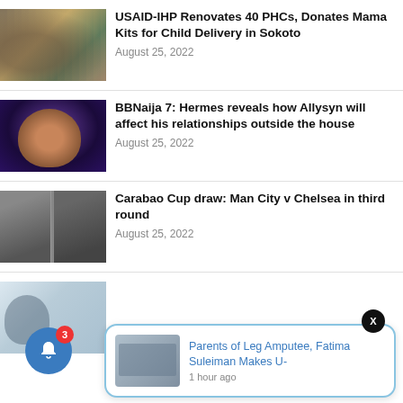[Figure (photo): People gathered around a table, healthcare/community setting]
USAID-IHP Renovates 40 PHCs, Donates Mama Kits for Child Delivery in Sokoto
August 25, 2022
[Figure (photo): Smiling bald man against purple/galaxy background (BBNaija contestant Hermes)]
BBNaija 7: Hermes reveals how Allysyn will affect his relationships outside the house
August 25, 2022
[Figure (photo): Two men (football managers) side by side in grayscale]
Carabao Cup draw: Man City v Chelsea in third round
August 25, 2022
[Figure (photo): Students in a classroom setting]
[Figure (photo): Notification popup thumbnail - person lying down]
Parents of Leg Amputee, Fatima Suleiman Makes U-
1 hour ago
August 25, 2022